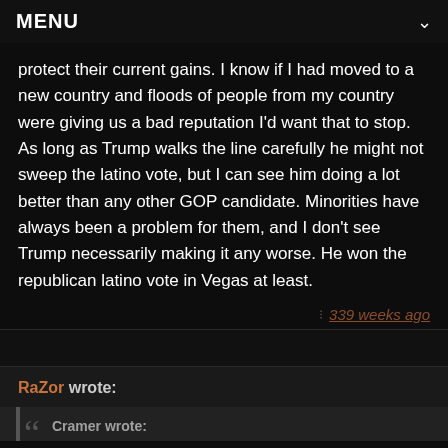MENU
protect their current gains. I know if I had moved to a new country and floods of people from my country were giving us a bad reputation I'd want that to stop. As long as Trump walks the line carefully he might not sweep the latino vote, but I can see him doing a lot better than any other GOP candidate. Minorities have always been a problem for them, and I don't see Trump necessarily making it any worse. He won the republican latino vote in Vegas at least.
339 weeks ago
RaZor wrote:
Cramer wrote: